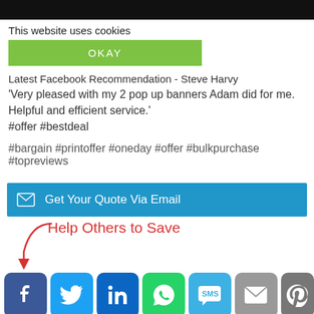This website uses cookies
OKAY
Latest Facebook Recommendation - Steve Harvy
'Very pleased with my 2 pop up banners Adam did for me. Helpful and efficient service.'
#offer #bestdeal

#bargain #printoffer #oneday #offer #bulkpurchase #topreviews
Get Your Quote Via Email
Help Others to Save
[Figure (screenshot): Social sharing icons row: Facebook, Twitter, LinkedIn, WhatsApp, SMS, Email, Pinterest]
Bookmark.